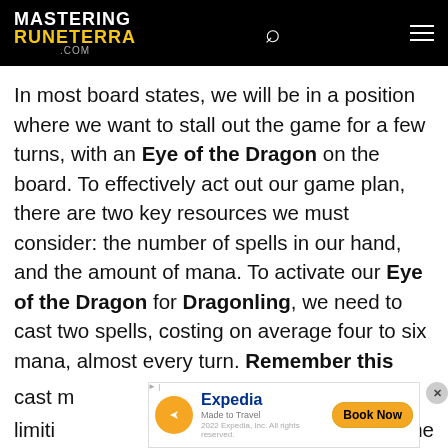MASTERING RUNETERRA .com
In most board states, we will be in a position where we want to stall out the game for a few turns, with an Eye of the Dragon on the board. To effectively act out our game plan, there are two key resources we must consider: the number of spells in our hand, and the amount of mana. To activate our Eye of the Dragon for Dragonling, we need to cast two spells, costing on average four to six mana, almost every turn. Remember this number: two spells is going to be the important figure we aim for. If we
[Figure (screenshot): Expedia advertisement banner: Expedia logo with orange circle icon, 'Made to Travel' tagline, 'Book Now' button, and '2022 Expedia, Inc. All rights reserved.' text. Close button (x) on the right.]